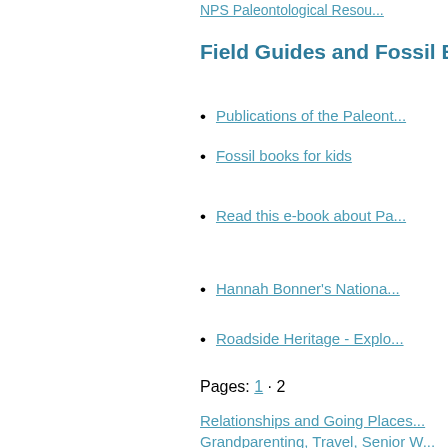NPS Paleontological Resou...
Field Guides and Fossil Bo...
Publications of the Paleonto...
Fossil books for kids
Read this e-book about Pa...
Hannah Bonner's Nationa...
Roadside Heritage - Explo...
Pages: 1 · 2
Relationships and Going Places... Grandparenting, Travel, Senior W...